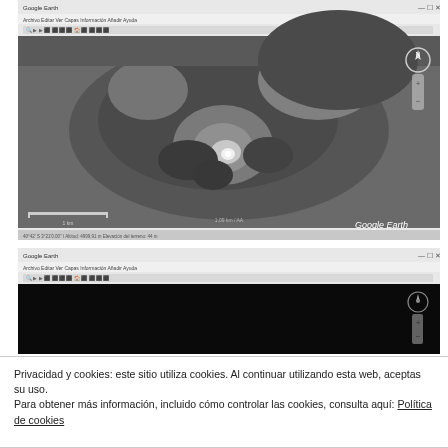[Figure (screenshot): Google Earth application window showing a grayscale satellite/infrared image of terrain with a bright central area, compass and zoom controls on the right, scale bar at bottom left, Google Earth watermark at bottom right, and coordinate information at the bottom.]
[Figure (screenshot): Google Earth application window showing a mostly black/dark view with navigation controls visible on the right side.]
Privacidad y cookies: este sitio utiliza cookies. Al continuar utilizando esta web, aceptas su uso.
Para obtener más información, incluido cómo controlar las cookies, consulta aquí: Política de cookies
Cerrar y aceptar